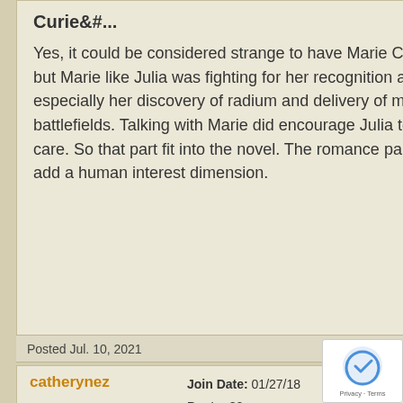Curie&#...
Yes, it could be considered strange to have Marie Curie and her daughter in the novel but Marie like Julia was fighting for her recognition and importance in the war effort, especially her discovery of radium and delivery of mobile X-Ray machines to the battlefields. Talking with Marie did encourage Julia to pursue her innovations in patient care. So that part fit into the novel. The romance part is more questionable but does add a human interest dimension.
Posted Jul. 10, 2021
catherynez  Join Date: 01/27/18  Posts: 82
RE: What did you think of Marie Curie&#...